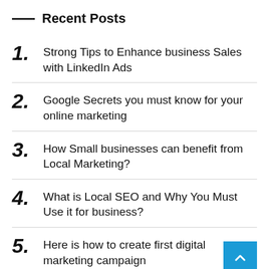— Recent Posts
1. Strong Tips to Enhance business Sales with LinkedIn Ads
2. Google Secrets you must know for your online marketing
3. How Small businesses can benefit from Local Marketing?
4. What is Local SEO and Why You Must Use it for business?
5. Here is how to create first digital marketing campaign